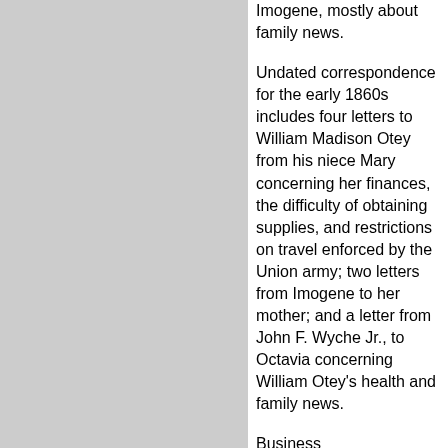Imogene, mostly about family news.
Undated correspondence for the early 1860s includes four letters to William Madison Otey from his niece Mary concerning her finances, the difficulty of obtaining supplies, and restrictions on travel enforced by the Union army; two letters from Imogene to her mother; and a letter from John F. Wyche Jr., to Octavia concerning William Otey's health and family news.
Business correspondence for the 1850s through the Civil War pertains mostly to the Otey's Yazoo